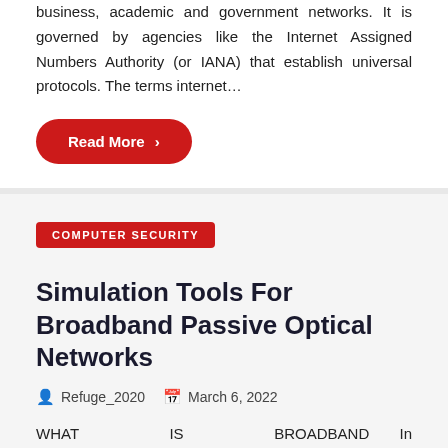business, academic and government networks. It is governed by agencies like the Internet Assigned Numbers Authority (or IANA) that establish universal protocols. The terms internet…
Read More ›
COMPUTER SECURITY
Simulation Tools For Broadband Passive Optical Networks
Refuge_2020   March 6, 2022
WHAT IS BROADBAND In telecommunications, broadband is wide